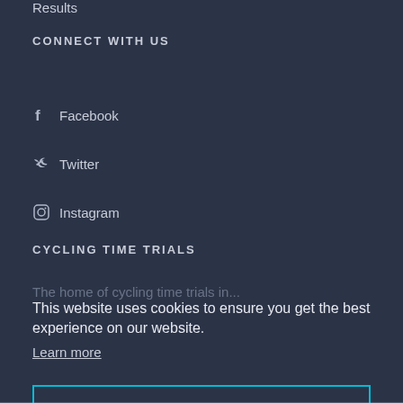Results
CONNECT WITH US
Facebook
Twitter
Instagram
CYCLING TIME TRIALS
The home of cycling time trials in...
This website uses cookies to ensure you get the best experience on our website.
Learn more
Got it!
...information
...than you for our...